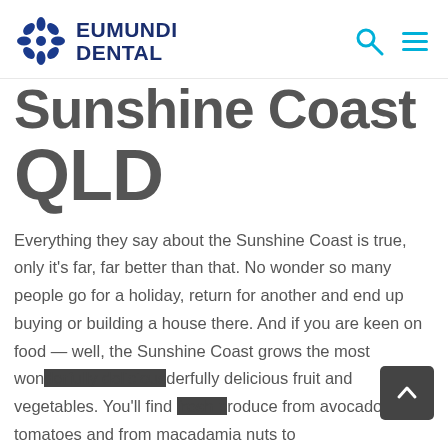EUMUNDI DENTAL
Sunshine Coast QLD
Everything they say about the Sunshine Coast is true, only it's far, far better than that. No wonder so many people go for a holiday, return for another and end up buying or building a house there. And if you are keen on food — well, the Sunshine Coast grows the most wonderfully delicious fruit and vegetables. You'll find fresh produce from avocados to tomatoes and from macadamia nuts to